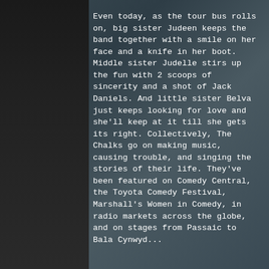Even today, as the tour bus rolls on, big sister Judeen keeps the band together with a smile on her face and a knife in her boot. Middle sister Judelle stirs up the fun with 2 scoops of sincerity and a shot of Jack Daniels. And little sister Belva just keeps looking for love and she'll keep at it till she gets its right. Collectively, The Chalks go on making music, causing trouble, and singing the stories of their life. They've been featured on Comedy Central, the Toyota Comedy Festival, Marshall's Women in Comedy, in radio markets across the globe, and on stages from Passaic to Bala Cynwyd...